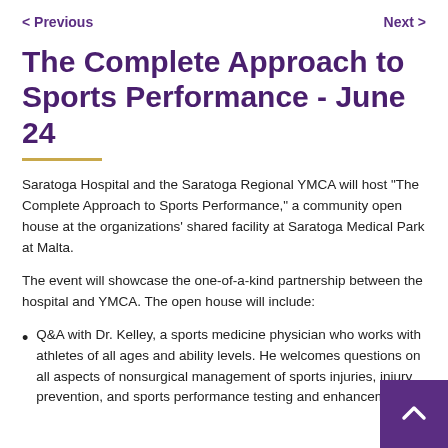< Previous   Next >
The Complete Approach to Sports Performance - June 24
Saratoga Hospital and the Saratoga Regional YMCA will host "The Complete Approach to Sports Performance," a community open house at the organizations' shared facility at Saratoga Medical Park at Malta.
The event will showcase the one-of-a-kind partnership between the hospital and YMCA. The open house will include:
Q&A with Dr. Kelley, a sports medicine physician who works with athletes of all ages and ability levels. He welcomes questions on all aspects of nonsurgical management of sports injuries, injury prevention, and sports performance testing and enhancement.